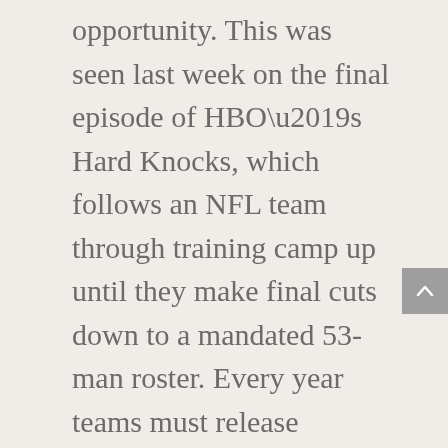opportunity. This was seen last week on the final episode of HBO's Hard Knocks, which follows an NFL team through training camp up until they make final cuts down to a mandated 53-man roster. Every year teams must release extremely talented, top-notch college players and NFL vets who simply fall short of the “top 53.” These players often go on to get picked up by other teams where they find success, reinforcing the notion that quality candidates are out there looking for their right fit.